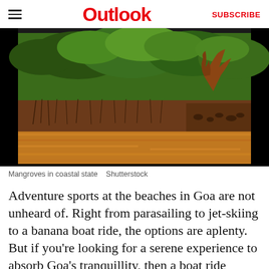Outlook   SUBSCRIBE
[Figure (photo): Mangroves in a coastal state — dense green tree canopy with exposed roots over a muddy red-brown riverbank and golden-orange river water in the foreground.]
Mangroves in coastal state   Shutterstock
Adventure sports at the beaches in Goa are not unheard of. Right from parasailing to jet-skiing to a banana boat ride, the options are aplenty. But if you're looking for a serene experience to absorb Goa's tranquillity, then a boat ride...